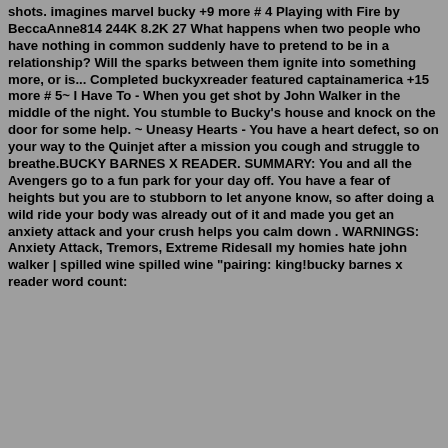shots. imagines marvel bucky +9 more # 4 Playing with Fire by BeccaAnne814 244K 8.2K 27 What happens when two people who have nothing in common suddenly have to pretend to be in a relationship? Will the sparks between them ignite into something more, or is... Completed buckyxreader featured captainamerica +15 more # 5~ I Have To - When you get shot by John Walker in the middle of the night. You stumble to Bucky's house and knock on the door for some help. ~ Uneasy Hearts - You have a heart defect, so on your way to the Quinjet after a mission you cough and struggle to breathe.BUCKY BARNES X READER. SUMMARY: You and all the Avengers go to a fun park for your day off. You have a fear of heights but you are to stubborn to let anyone know, so after doing a wild ride your body was already out of it and made you get an anxiety attack and your crush helps you calm down . WARNINGS: Anxiety Attack, Tremors, Extreme Ridesall my homies hate john walker | spilled wine spilled wine "pairing: king!bucky barnes x reader word count: